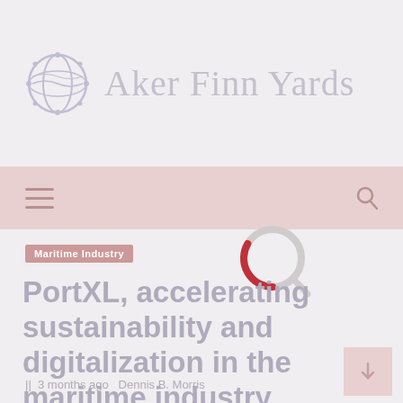Aker Finn Yards
[Figure (logo): Aker Finn Yards logo with circular globe icon in light blue/grey and text brand name in light grey serif font]
[Figure (screenshot): Navigation bar with hamburger menu icon on left and search icon on right, pink/rose background]
[Figure (illustration): Circular loading spinner with red partial arc and grey ring]
Maritime Industry
PortXL, accelerating sustainability and digitalization in the maritime industry
3 months ago  Dennis B. Morris